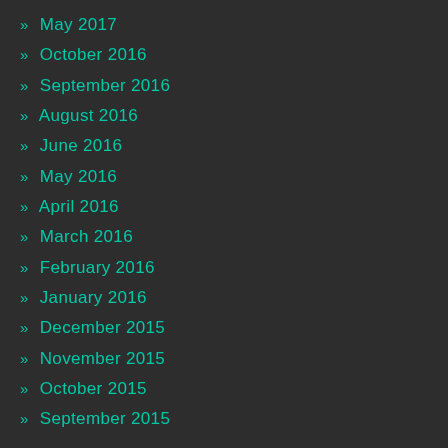» May 2017
» October 2016
» September 2016
» August 2016
» June 2016
» May 2016
» April 2016
» March 2016
» February 2016
» January 2016
» December 2015
» November 2015
» October 2015
» September 2015